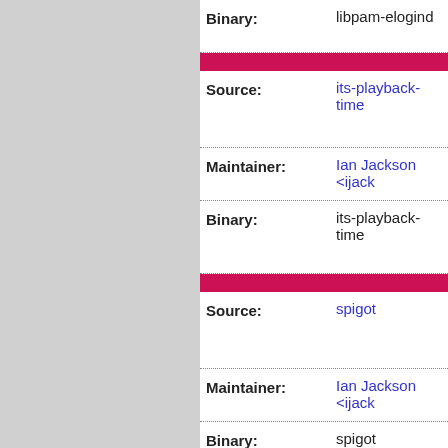| Field | Value |
| --- | --- |
| Binary: | libpam-elogind |
| [divider] |  |
| Source: | its-playback-time |
| Maintainer: | Ian Jackson <ijack... |
| Binary: | its-playback-time |
| [divider] |  |
| Source: | spigot |
| Maintainer: | Ian Jackson <ijack... |
| Binary: | spigot |
| [divider] |  |
| Source: | sympathy |
| Maintainer: | Ian Jackson <ian.... |
| Uploaders: | Ian Jackson <ijack... |